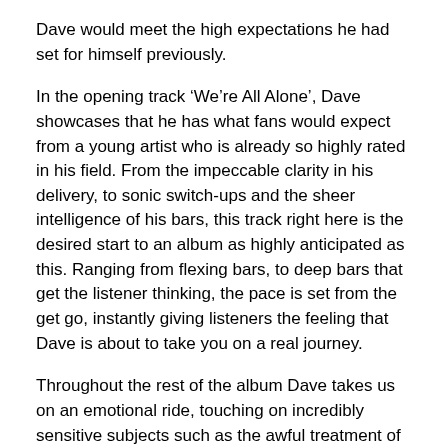Dave would meet the high expectations he had set for himself previously.
In the opening track ‘We’re All Alone’, Dave showcases that he has what fans would expect from a young artist who is already so highly rated in his field. From the impeccable clarity in his delivery, to sonic switch-ups and the sheer intelligence of his bars, this track right here is the desired start to an album as highly anticipated as this. Ranging from flexing bars, to deep bars that get the listener thinking, the pace is set from the get go, instantly giving listeners the feeling that Dave is about to take you on a real journey.
Throughout the rest of the album Dave takes us on an emotional ride, touching on incredibly sensitive subjects such as the awful treatment of the Windrush Generation on ‘Three Rivers’ in a no holds barred manner. In true Dave fashion, the rapper avoids beating around the bush and ensures that nothing is left unsaid. Either the listener will be inspired to think or be left with an evoked emotion, no other option is left.